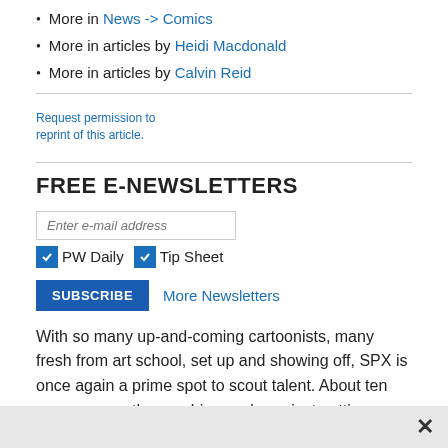More in News -> Comics
More in articles by Heidi Macdonald
More in articles by Calvin Reid
Request permission to reprint of this article.
FREE E-NEWSLETTERS
Enter e-mail address
☑ PW Daily ☑ Tip Sheet
SUBSCRIBE  More Newsletters
With so many up-and-coming cartoonists, many fresh from art school, set up and showing off, SPX is once again a prime spot to scout talent. About ten years ago as the graphic novel was just getting established, it was often editors from major publishing companies...